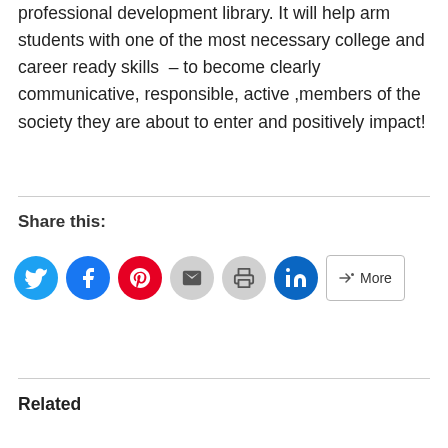professional development library. It will help arm students with one of the most necessary college and career ready skills  – to become clearly communicative, responsible, active ,members of the society they are about to enter and positively impact!
Share this:
[Figure (other): Social share buttons: Twitter, Facebook, Pinterest, Email, Print, LinkedIn, More]
Related